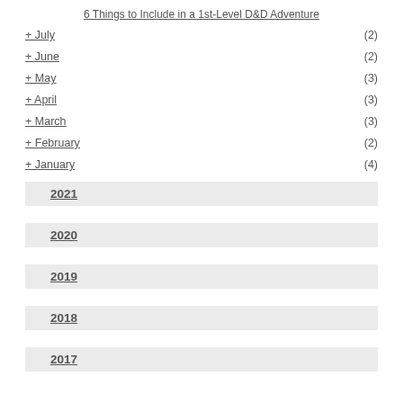6 Things to Include in a 1st-Level D&D Adventure
+ July (2)
+ June (2)
+ May (3)
+ April (3)
+ March (3)
+ February (2)
+ January (4)
2021
2020
2019
2018
2017